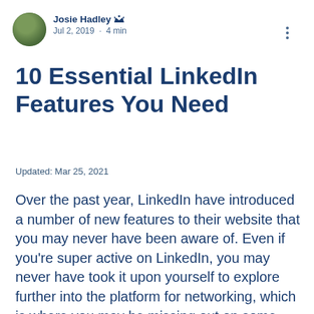Josie Hadley · Jul 2, 2019 · 4 min
10 Essential LinkedIn Features You Need
Updated: Mar 25, 2021
Over the past year, LinkedIn have introduced a number of new features to their website that you may never have been aware of. Even if you're super active on LinkedIn, you may never have took it upon yourself to explore further into the platform for networking, which is where you may be missing out on some great business opportunities.  So here are 10 essential LinkedIn features you need: